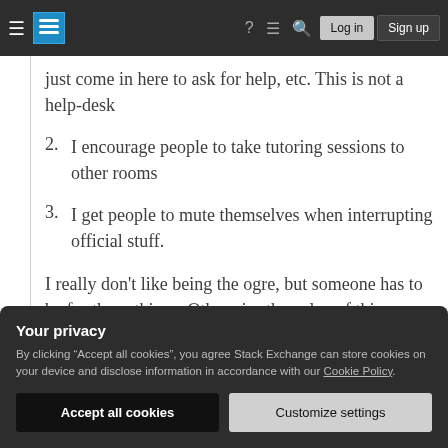Stack Exchange navigation bar with hamburger menu, logo, help, chat, search icons, Log in and Sign up buttons
just come in here to ask for help, etc. This is not a help-desk
2. I encourage people to take tutoring sessions to other rooms
3. I get people to mute themselves when interrupting official stuff.
I really don't like being the ogre, but someone has to be for those things. Otherwise the value of this room will be
Your privacy
By clicking “Accept all cookies”, you agree Stack Exchange can store cookies on your device and disclose information in accordance with our Cookie Policy.
Accept all cookies | Customize settings